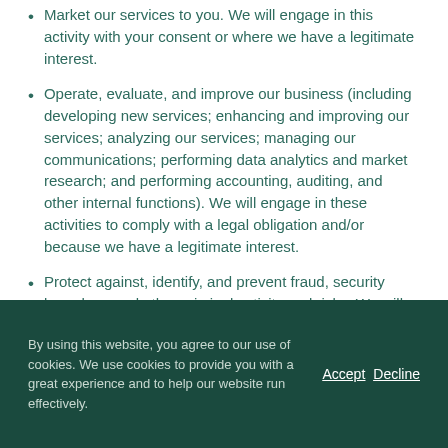Market our services to you. We will engage in this activity with your consent or where we have a legitimate interest.
Operate, evaluate, and improve our business (including developing new services; enhancing and improving our services; analyzing our services; managing our communications; performing data analytics and market research; and performing accounting, auditing, and other internal functions). We will engage in these activities to comply with a legal obligation and/or because we have a legitimate interest.
Protect against, identify, and prevent fraud, security breaches, and other criminal activity and risks. We will engage in these activities to comply with a legal obligation and/or because we have a legitimate interest.
Comply with and enforce applicable legal requirements, relevant industry standards, and our policies, including this Website Privacy Notice and our Terms and...
By using this website, you agree to our use of cookies. We use cookies to provide you with a great experience and to help our website run effectively.